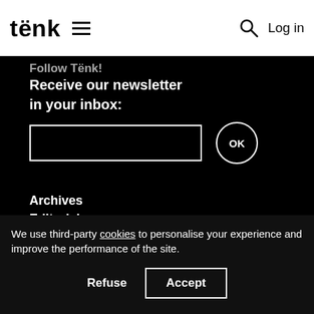tënk  ≡  🔍  Log in
Follow Tënk!
Receive our newsletter in your inbox:
[Figure (other): Email input field (empty, white bordered rectangle) and OK button (white circle with OK text) on black background]
Archives
Editorial
Who are we?
We use third-party cookies to personalise your experience and improve the performance of the site.
Refuse  Accept